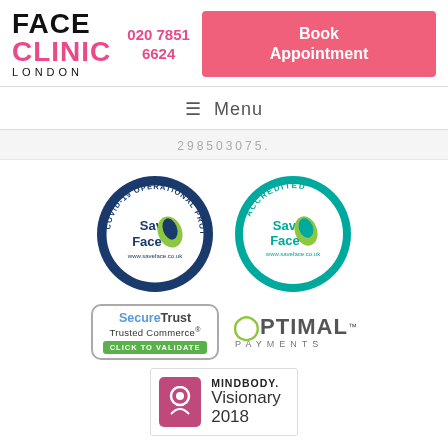[Figure (logo): Face Clinic London logo with text FACE CLINIC LONDON]
020 7851 6624
Book Appointment
≡ Menu
298503075.
[Figure (logo): Save Face COVID-19 Operational Protocol Certified badge]
[Figure (logo): Save Face Accredited Clinic badge]
[Figure (logo): SecureTrust Trusted Commerce Click To Validate badge]
[Figure (logo): Optimal Payments logo]
[Figure (logo): MINDBODY Visionary 2018 badge]